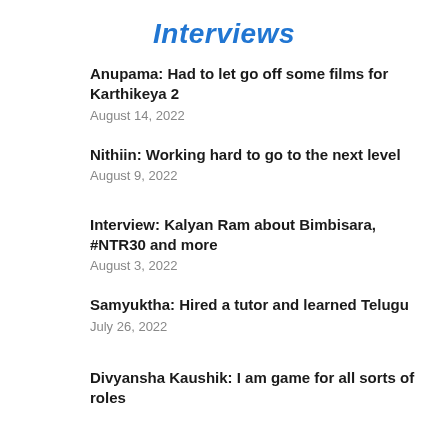Interviews
Anupama: Had to let go off some films for Karthikeya 2
August 14, 2022
Nithiin: Working hard to go to the next level
August 9, 2022
Interview: Kalyan Ram about Bimbisara, #NTR30 and more
August 3, 2022
Samyuktha: Hired a tutor and learned Telugu
July 26, 2022
Divyansha Kaushik: I am game for all sorts of roles